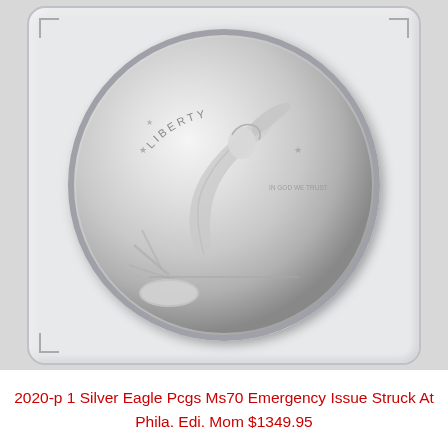[Figure (photo): Photo of a 2020-P 1 oz American Silver Eagle coin in a PCGS plastic slab holder. The obverse shows Walking Liberty design. The coin is silver/bright white with detailed relief. The slab is a clear plastic holder with rounded corners and corner notch marks.]
2020-p 1 Silver Eagle Pcgs Ms70 Emergency Issue Struck At Phila. Edi. Mom $1349.95